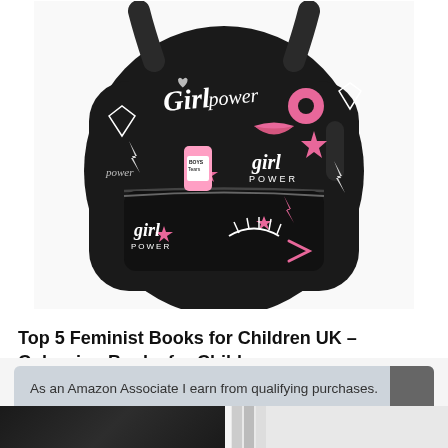[Figure (photo): Black backpack with pink and white 'girl power' themed prints including stars, lightning bolts, lips, donuts, diamonds, and text reading 'Girl Power' multiple times]
Top 5 Feminist Books for Children UK – Colouring Books for Children
As an Amazon Associate I earn from qualifying purchases. This website uses the only necessary cookies to ensure you get the best experience on our website. More information
[Figure (photo): Partial view of two product images at the bottom of the page - left shows a dark item, right shows a light colored item]